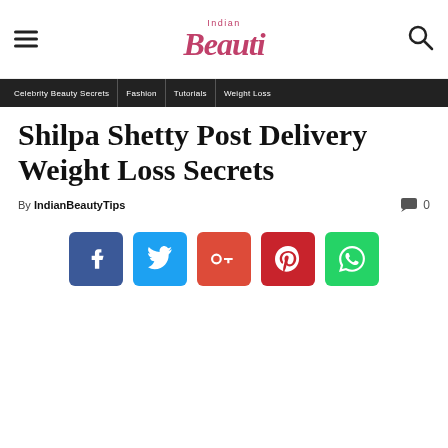Indian BeautyTips
Shilpa Shetty Post Delivery Weight Loss Secrets
By IndianBeautyTips  0
[Figure (other): Social sharing buttons: Facebook, Twitter, Google+, Pinterest, WhatsApp]